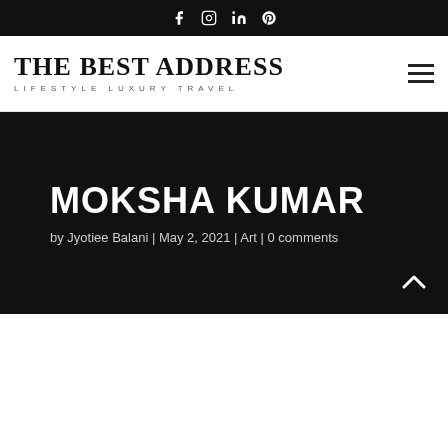f  IG  in  P  (social media icons)
[Figure (logo): THE BEST ADDRESS - LIFESTYLE LUXURY TRAVEL logo with serif bold text and spaced subtitle]
MOKSHA KUMAR
by Jyotiee Balani | May 2, 2021 | Art | 0 comments